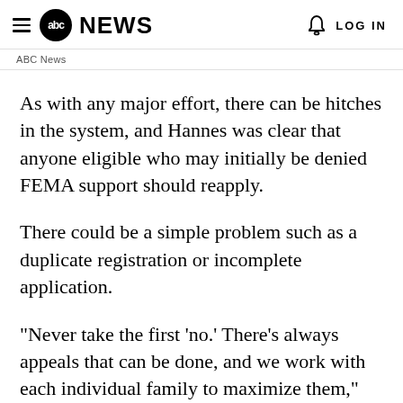≡ abc NEWS   🔔   LOG IN
ABC News
As with any major effort, there can be hitches in the system, and Hannes was clear that anyone eligible who may initially be denied FEMA support should reapply.
There could be a simple problem such as a duplicate registration or incomplete application.
"Never take the first 'no.' There's always appeals that can be done, and we work with each individual family to maximize them," Hannes said.